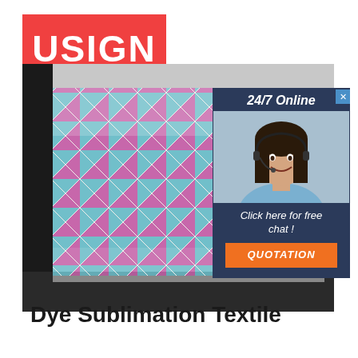[Figure (logo): USIGN logo — white bold text on red/coral background rectangle]
[Figure (photo): Large format printer printing colorful geometric triangle pattern textile in pink/magenta and teal/blue colors on white fabric, being fed through industrial printer]
[Figure (infographic): 24/7 Online chat widget — dark navy background with photo of smiling woman with headset, text 'Click here for free chat!' and orange QUOTATION button]
Dye Sublimation Textile